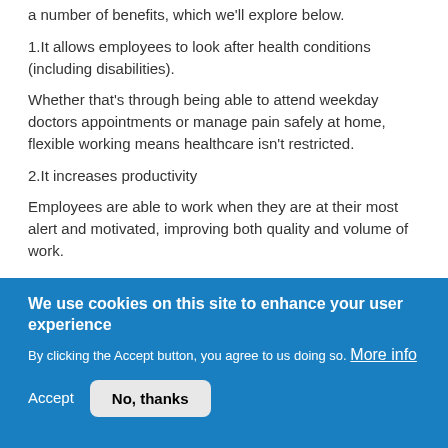a number of benefits, which we'll explore below.
1.It allows employees to look after health conditions (including disabilities).
Whether that's through being able to attend weekday doctors appointments or manage pain safely at home, flexible working means healthcare isn't restricted.
2.It increases productivity
Employees are able to work when they are at their most alert and motivated, improving both quality and volume of work.
We use cookies on this site to enhance your user experience
By clicking the Accept button, you agree to us doing so. More info
Accept
No, thanks